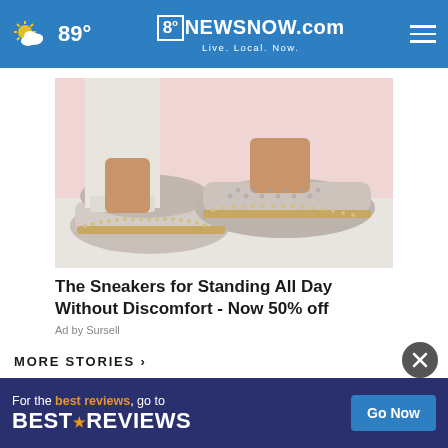89° 8NewsNow.com Live. Local. Now.
[Figure (photo): Close-up photo of a person wearing white/grey casual slip-on sneakers with decorative stud detailing and a tan sole, against a pink and white background]
The Sneakers for Standing All Day Without Discomfort - Now 50% off
Ad by Sursell
MORE STORIES >
[Figure (photo): Partial thumbnail image of a news story]
...continuing headline text
[Figure (screenshot): BestReviews advertisement banner: 'For the best reviews, go to BESTREVIEWS' with a Go Now button]